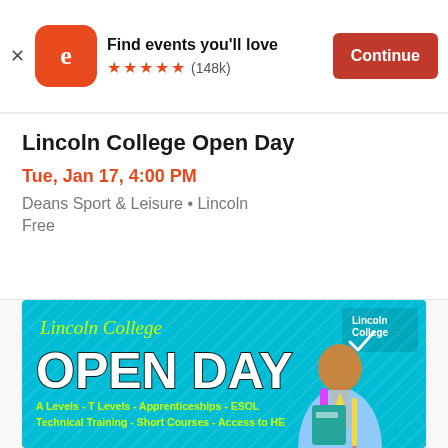[Figure (screenshot): Eventbrite app promotional banner with logo, 'Find events you'll love' text, 5-star rating (148k reviews), and Continue button]
Lincoln College Open Day
Tue, Jan 17, 4:00 PM
Deans Sport & Leisure • Lincoln
Free
[Figure (illustration): Lincoln College Open Day promotional poster on teal background. Shows 'Lincoln College' script logo, 'OPEN DAY' in large white bold text, a student illustration holding books and a backpack, Lincoln College logo with checkmark, and text listing: A Levels - T Levels - Apprenticeships - ESOL, Technical Training - Short Courses - Access to HE]